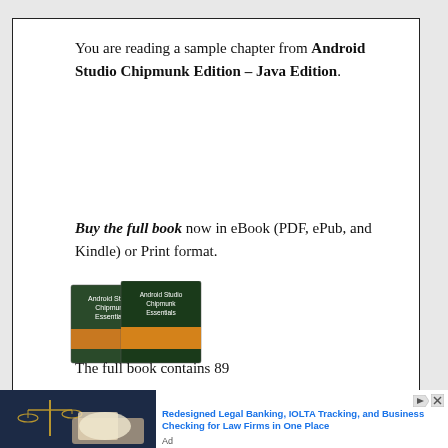You are reading a sample chapter from Android Studio Chipmunk Edition – Java Edition.
Buy the full book now in eBook (PDF, ePub, and Kindle) or Print format.
[Figure (photo): Two book covers for Android Studio Chipmunk Essentials overlapping]
The full book contains 89
[Figure (photo): Ad: Photo of legal scales and person writing, with text about Redesigned Legal Banking, IOLTA Tracking, and Business Checking for Law Firms in One Place]